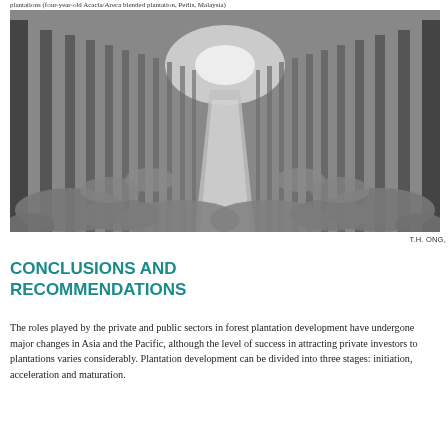plantations (four-year-old Acacia/Areca blended plantation, Perlis, Malaysia)
[Figure (photo): Black and white photograph of a tall tree plantation with straight trunks receding into the distance, with undergrowth visible on the ground]
T.H. ONG,
CONCLUSIONS AND RECOMMENDATIONS
The roles played by the private and public sectors in forest plantation development have undergone major changes in Asia and the Pacific, although the level of success in attracting private investors to plantations varies considerably. Plantation development can be divided into three stages: initiation, acceleration and maturation.